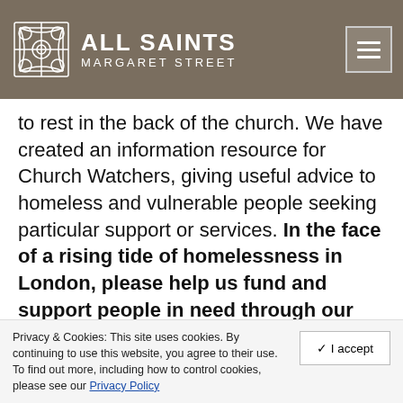ALL SAINTS MARGARET STREET
to rest in the back of the church. We have created an information resource for Church Watchers, giving useful advice to homeless and vulnerable people seeking particular support or services. In the face of a rising tide of homelessness in London, please help us fund and support people in need through our Mission activities.
Want to help someone sleeping rough but
Privacy & Cookies: This site uses cookies. By continuing to use this website, you agree to their use. To find out more, including how to control cookies, please see our Privacy Policy